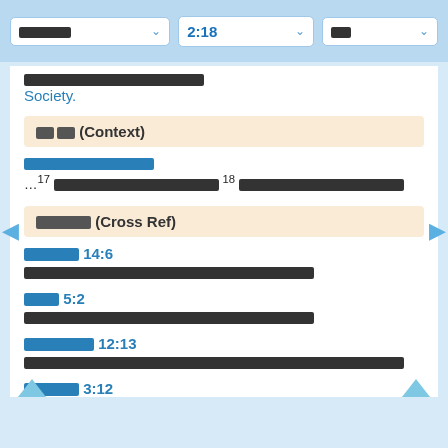[Thai] 2:18 [Thai]
Society.
[Thai] (Context)
[Thai]
... 17 [Thai] 18 [Thai]
[Thai] (Cross Ref)
[Thai] 14:6
[Thai]
[Thai] 5:2
[Thai]
[Thai] 12:13
[Thai]
[Thai] 3:12